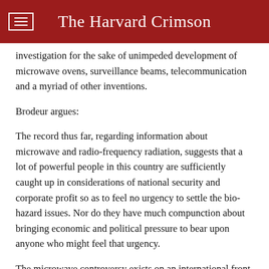The Harvard Crimson
investigation for the sake of unimpeded development of microwave ovens, surveillance beams, telecommunication and a myriad of other inventions.
Brodeur argues:
The record thus far, regarding information about microwave and radio-frequency radiation, suggests that a lot of powerful people in this country are sufficiently caught up in considerations of national security and corporate profit so as to feel no urgency to settle the bio-hazard issues. Nor do they have much compunction about bringing economic and political pressure to bear upon anyone who might feel that urgency.
The microwave controversy exists on an international front as well, and Brodeur reveals a microwave race between this country and the Soviet Union that seems to generate as